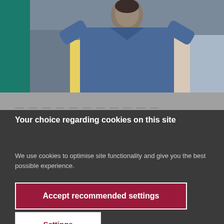[Figure (photo): Photo of a person wearing a blue denim jacket, appearing to be in an industrial or warehouse setting with colorful items in the background. Set against a teal/green background.]
Your choice regarding cookies on this site
We use cookies to optimise site functionality and give you the best possible experience.
Accept recommended settings
Settings